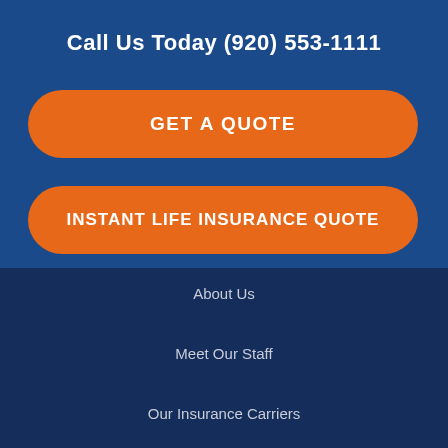Call Us Today (920) 553-1111
GET A QUOTE
INSTANT LIFE INSURANCE QUOTE
About Us
Meet Our Staff
Our Insurance Carriers